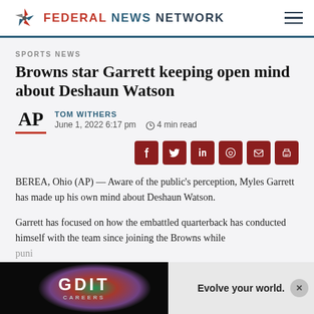FEDERAL NEWS NETWORK
SPORTS NEWS
Browns star Garrett keeping open mind about Deshaun Watson
TOM WITHERS
June 1, 2022 6:17 pm   4 min read
BEREA, Ohio (AP) — Aware of the public's perception, Myles Garrett has made up his own mind about Deshaun Watson.
Garrett has focused on how the embattled quarterback has conducted himself with the team since joining the Browns while puni